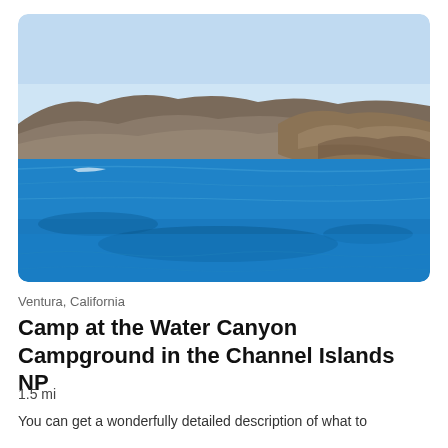[Figure (photo): Coastal landscape photo showing vivid blue ocean water in the foreground, rocky cliffs and a sandy beach cove in the middle distance, and brown mountainous hills rising under a pale blue sky. The photo has rounded corners.]
Ventura, California
Camp at the Water Canyon Campground in the Channel Islands NP
1.5 mi
You can get a wonderfully detailed description of what to